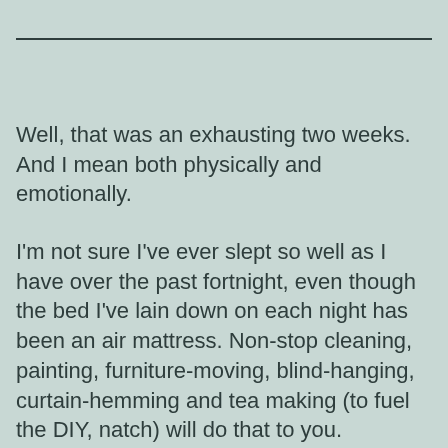Well, that was an exhausting two weeks. And I mean both physically and emotionally.
I'm not sure I've ever slept so well as I have over the past fortnight, even though the bed I've lain down on each night has been an air mattress. Non-stop cleaning, painting, furniture-moving, blind-hanging, curtain-hemming and tea making (to fuel the DIY, natch) will do that to you.